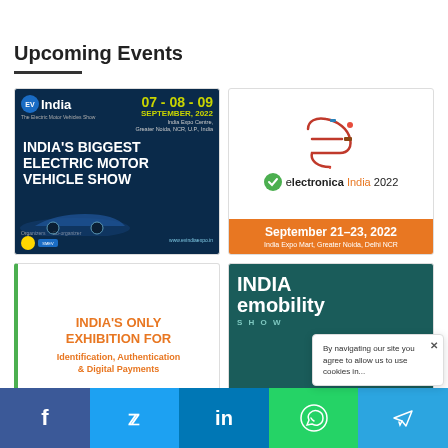Upcoming Events
[Figure (photo): EV India expo banner - India's Biggest Electric Motor Vehicle Show, 07-08-09 September 2022, India Expo Centre, Greater Noida, NCR, U.P., India]
[Figure (photo): Electronica India 2022 banner - September 21-23 2022, India Expo Mart, Greater Noida, Delhi NCR]
[Figure (photo): India's Only Exhibition For Identification Authentication & Digital Payments event card]
[Figure (photo): India eMobility Show banner - 03-04 date visible]
By navigating our site you agree to allow us to use cookies in...